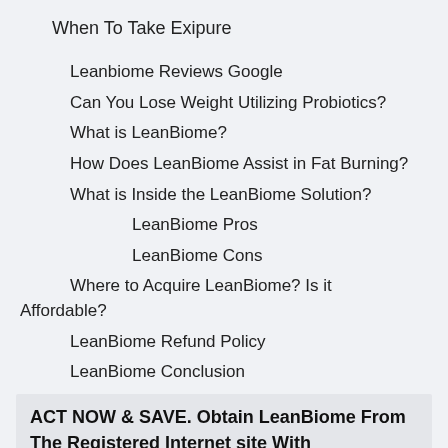When To Take Exipure
Leanbiome Reviews Google
Can You Lose Weight Utilizing Probiotics?
What is LeanBiome?
How Does LeanBiome Assist in Fat Burning?
What is Inside the LeanBiome Solution?
LeanBiome Pros
LeanBiome Cons
Where to Acquire LeanBiome? Is it Affordable?
LeanBiome Refund Policy
LeanBiome Conclusion
ACT NOW & SAVE. Obtain LeanBiome From The Registered Internet site With Approximately 50% OFF Click Here->